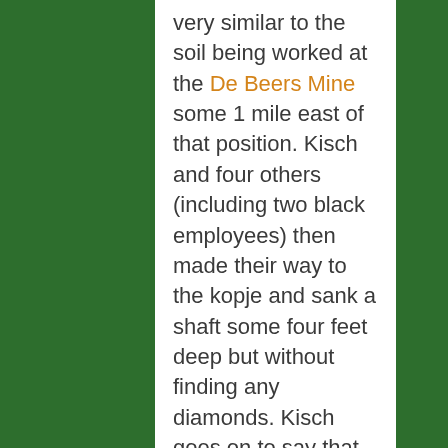very similar to the soil being worked at the De Beers Mine some 1 mile east of that position. Kisch and four others (including two black employees) then made their way to the kopje and sank a shaft some four feet deep but without finding any diamonds. Kisch goes on to say that Fleetwood Rawstorne visited him that same day and asked how it was going and he told Rawstorne exactly what had happened, in effect, nothing. Rawstorne proposed that he send an employee of his to continue digging in that spot, which was agreed to, and Kisch sent his black employee Abel to point out the spot where the shaft had